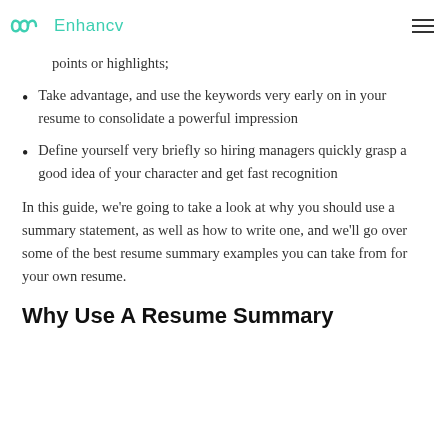Enhancv
points or highlights;
Take advantage, and use the keywords very early on in your resume to consolidate a powerful impression
Define yourself very briefly so hiring managers quickly grasp a good idea of your character and get fast recognition
In this guide, we’re going to take a look at why you should use a summary statement, as well as how to write one, and we’ll go over some of the best resume summary examples you can take from for your own resume.
Why Use A Resume Summary